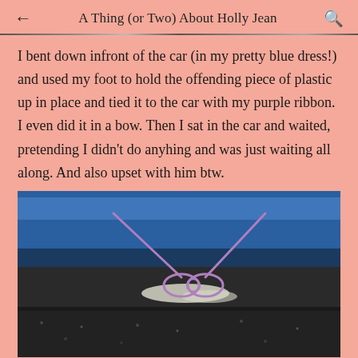A Thing (or Two) About Holly Jean
I bent down infront of the car (in my pretty blue dress!) and used my foot to hold the offending piece of plastic up in place and tied it to the car with my purple ribbon. I even did it in a bow. Then I sat in the car and waited, pretending I didn't do anyhing and was just waiting all along. And also upset with him btw.
[Figure (photo): A purple ribbon tied in a bow around a car's plastic bumper piece, with a blue car body visible above and dark asphalt ground below.]